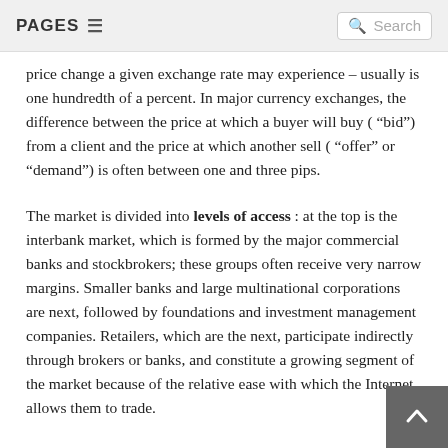PAGES  Search
price change a given exchange rate may experience – usually is one hundredth of a percent. In major currency exchanges, the difference between the price at which a buyer will buy ( "bid") from a client and the price at which another sell ( "offer" or "demand") is often between one and three pips.
The market is divided into levels of access : at the top is the interbank market, which is formed by the major commercial banks and stockbrokers; these groups often receive very narrow margins. Smaller banks and large multinational corporations are next, followed by foundations and investment management companies. Retailers, which are the next, participate indirectly through brokers or banks, and constitute a growing segment of the market because of the relative ease with which the Internet allows them to trade.